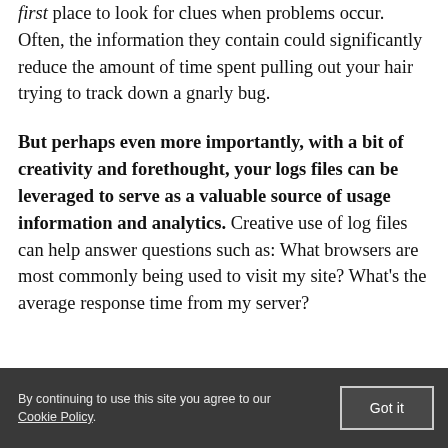first place to look for clues when problems occur. Often, the information they contain could significantly reduce the amount of time spent pulling out your hair trying to track down a gnarly bug.
But perhaps even more importantly, with a bit of creativity and forethought, your logs files can be leveraged to serve as a valuable source of usage information and analytics. Creative use of log files can help answer questions such as: What browsers are most commonly being used to visit my site? What's the average response time from my server?
By continuing to use this site you agree to our Cookie Policy.